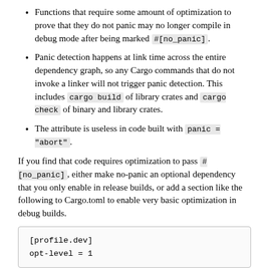Functions that require some amount of optimization to prove that they do not panic may no longer compile in debug mode after being marked #[no_panic].
Panic detection happens at link time across the entire dependency graph, so any Cargo commands that do not invoke a linker will not trigger panic detection. This includes cargo build of library crates and cargo check of binary and library crates.
The attribute is useless in code built with panic = "abort".
If you find that code requires optimization to pass #[no_panic], either make no-panic an optional dependency that you only enable in release builds, or add a section like the following to Cargo.toml to enable very basic optimization in debug builds.
[profile.dev]
opt-level = 1
If the...